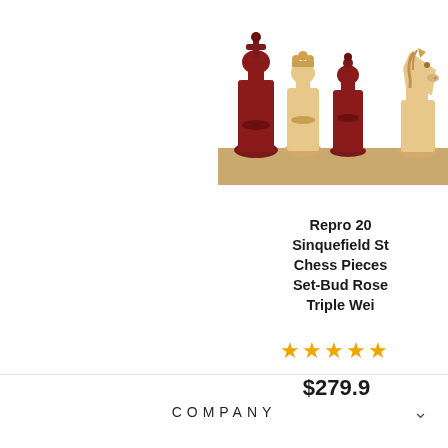[Figure (photo): Chess pieces lined up on a board — dark red/rosewood king, light wood queen, dark red bishop, and light wood knight visible against a white background]
Repro 20 Sinquefield St Chess Pieces Set-Bud Rose Triple Wei
★★★★★
$279.9
COMPANY